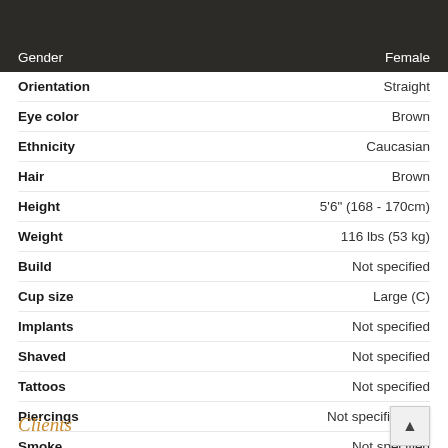| Attribute | Value |
| --- | --- |
| Gender | Female |
| Orientation | Straight |
| Eye color | Brown |
| Ethnicity | Caucasian |
| Hair | Brown |
| Height | 5'6" (168 - 170cm) |
| Weight | 116 lbs (53 kg) |
| Build | Not specified |
| Cup size | Large (C) |
| Implants | Not specified |
| Shaved | Not specified |
| Tattoos | Not specified |
| Piercings | Not specified |
| Smoke | Not specified |
Clients